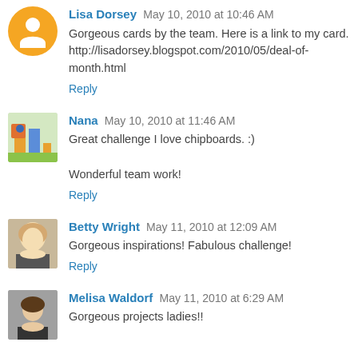Lisa Dorsey May 10, 2010 at 10:46 AM
Gorgeous cards by the team. Here is a link to my card. http://lisadorsey.blogspot.com/2010/05/deal-of-month.html
Reply
Nana May 10, 2010 at 11:46 AM
Great challenge I love chipboards. :)
Wonderful team work!
Reply
Betty Wright May 11, 2010 at 12:09 AM
Gorgeous inspirations! Fabulous challenge!
Reply
Melisa Waldorf May 11, 2010 at 6:29 AM
Gorgeous projects ladies!!